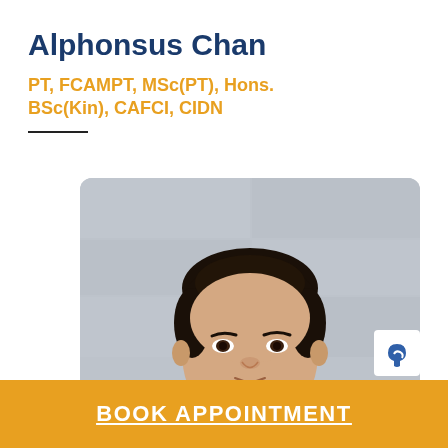Alphonsus Chan
PT, FCAMPT, MSc(PT), Hons. BSc(Kin), CAFCI, CIDN
[Figure (photo): Professional headshot of Alphonsus Chan, a man with short dark hair and light beard, wearing a grey polo shirt, photographed against a light stone wall background.]
BOOK APPOINTMENT